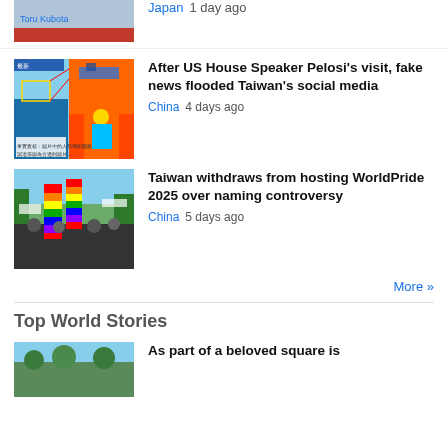[Figure (photo): Partial top news item image, partially visible at top of page]
Japan  1 day ago
[Figure (photo): Composite image with thermal/infrared imagery of a ship and a colorful figure]
After US House Speaker Pelosi’s visit, fake news flooded Taiwan’s social media
China  4 days ago
[Figure (photo): Crowd at a pride event with large rainbow flags]
Taiwan withdraws from hosting WorldPride 2025 over naming controversy
China  5 days ago
More »
Top World Stories
[Figure (photo): Outdoor scene, partially visible at bottom]
As part of a beloved square is